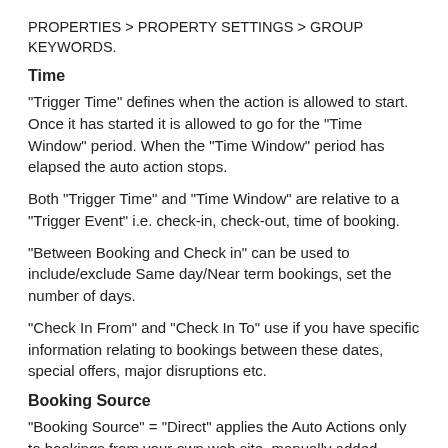PROPERTIES > PROPERTY SETTINGS > GROUP KEYWORDS.
Time
"Trigger Time" defines when the action is allowed to start. Once it has started it is allowed to go for the "Time Window" period. When the "Time Window" period has elapsed the auto action stops.
Both "Trigger Time" and "Time Window" are relative to a "Trigger Event" i.e. check-in, check-out, time of booking.
"Between Booking and Check in" can be used to include/exclude Same day/Near term bookings, set the number of days.
"Check In From" and "Check In To" use if you have specific information relating to bookings between these dates, special offers, major disruptions etc.
Booking Source
"Booking Source" = "Direct" applies the Auto Actions only to bookings from your own web site, manually added bookings and bookings imported though the API (not the channel manager). If you want to trigger only on manually added bookings add your username in the "Referrer" field.